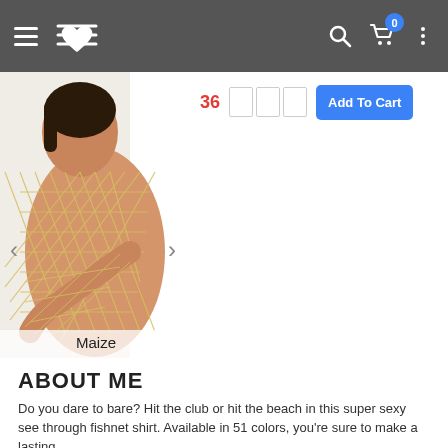Navigation bar with hamburger menu, logo, search, cart (0), and more options
[Figure (photo): Model wearing a maize/yellow fishnet mesh see-through shirt, photographed from behind. Image is labeled 'Maize' at the bottom with left/right navigation arrows.]
Add To Cart
ABOUT ME
Do you dare to bare? Hit the club or hit the beach in this super sexy see through fishnet shirt. Available in 51 colors, you're sure to make a lasting